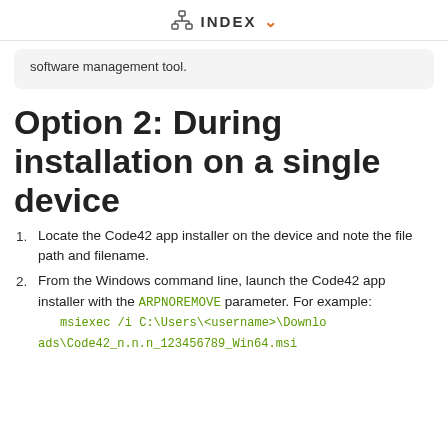INDEX
software management tool.
Option 2: During installation on a single device
Locate the Code42 app installer on the device and note the file path and filename.
From the Windows command line, launch the Code42 app installer with the ARPNOREMOVE parameter. For example: msiexec /i C:\Users\<username>\Downloads\Code42_n.n.n_123456789_Win64.msi